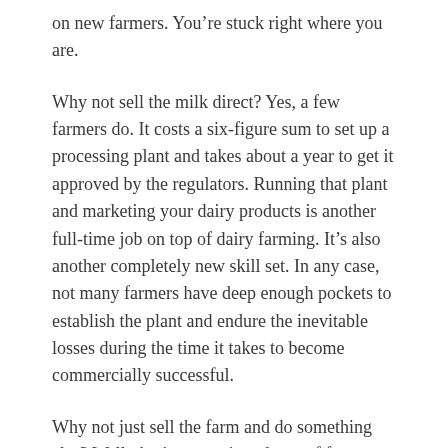on new farmers. You’re stuck right where you are.
Why not sell the milk direct? Yes, a few farmers do. It costs a six-figure sum to set up a processing plant and takes about a year to get it approved by the regulators. Running that plant and marketing your dairy products is another full-time job on top of dairy farming. It’s also another completely new skill set. In any case, not many farmers have deep enough pockets to establish the plant and endure the inevitable losses during the time it takes to become commercially successful.
Why not just sell the farm and do something else? Well, that’s a question plenty of farmers are asking, too, but it can take years to sell a farm and we do it because we are good at it and we love being farmers.